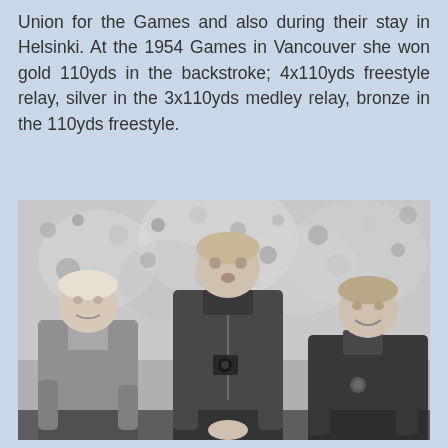Union for the Games and also during their stay in Helsinki. At the 1954 Games in Vancouver she won gold 110yds in the backstroke; 4x110yds freestyle relay, silver in the 3x110yds medley relay, bronze in the 110yds freestyle.
[Figure (photo): Black and white photograph of three people standing together, likely athletes at a sporting event. The person in the center is taller and wearing a dark zip-up jacket. The person on the left is shorter with light hair wearing a lighter jacket. The person on the right is also shorter with short hair wearing a dark jacket.]